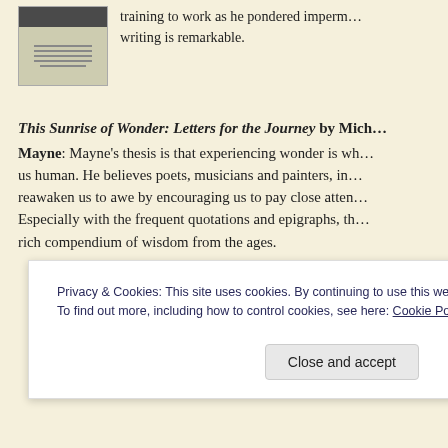[Figure (photo): Small book cover image with a dark top portion and lighter lower portion with text lines]
training to work as he pondered imperm… writing is remarkable.
This Sunrise of Wonder: Letters for the Journey by Mich… Mayne: Mayne's thesis is that experiencing wonder is wh… us human. He believes poets, musicians and painters, in… reawaken us to awe by encouraging us to pay close atten… Especially with the frequent quotations and epigraphs, th… rich compendium of wisdom from the ages.
Privacy & Cookies: This site uses cookies. By continuing to use this website, you agree to their use. To find out more, including how to control cookies, see here: Cookie Policy
Close and accept